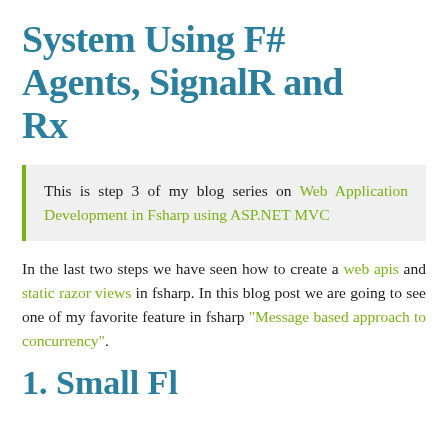System Using F# Agents, SignalR and Rx
This is step 3 of my blog series on Web Application Development in Fsharp using ASP.NET MVC
In the last two steps we have seen how to create a web apis and static razor views in fsharp. In this blog post we are going to see one of my favorite feature in fsharp "Message based approach to concurrency".
1. Small Fl...